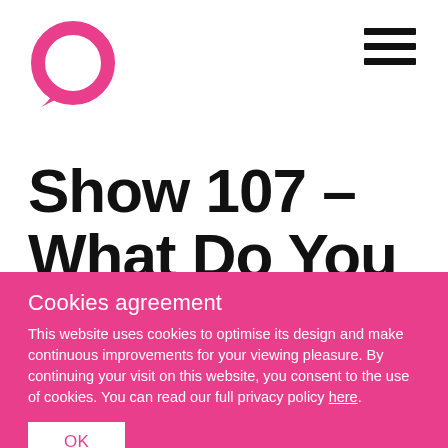[Figure (logo): Pink circular speech bubble / Q logo]
[Figure (other): Hamburger menu icon with three horizontal black bars]
Show 107 – What Do You Really Do?
Cookies agreement
This website uses cookies to optimise its design and make continuous improvements for your viewing pleasure. By continuing your visit on this website, you consent to the use of cookies. You can read our full privacy policy here.
OK